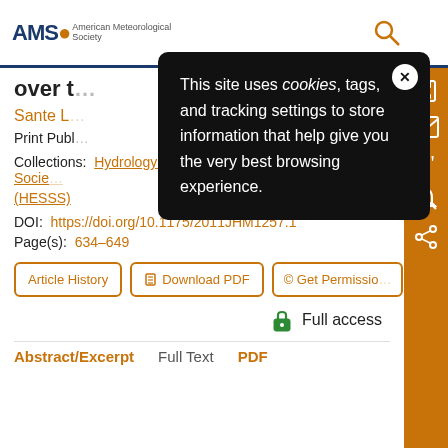[Figure (screenshot): AMS (American Meteorological Society) website header with logo and search icon]
over t…
Sante L…    More
Print Publ…
Collections:  Hydrology in Earth System Science and Society (HESSS)
DOI:  https://doi.org/10.1175/2011JHM1257.1
Page(s):  634–649
Article History    Download PDF    Get Permission…
Full access
Abstract/Excerpt    Full Text    PDF
This site uses cookies, tags, and tracking settings to store information that help give you the very best browsing experience.